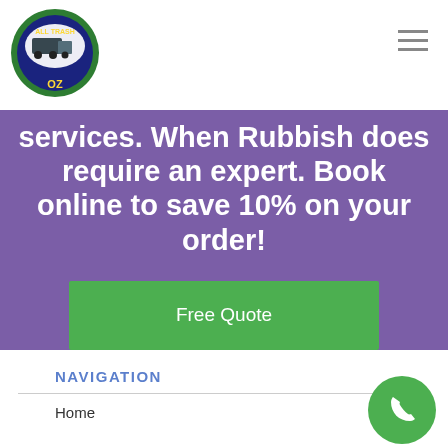[Figure (logo): All Trash OZ circular logo with truck illustration]
services. When Rubbish does require an expert. Book online to save 10% on your order!
Free Quote
NAVIGATION
Home
[Figure (other): Green circular phone/call button icon]